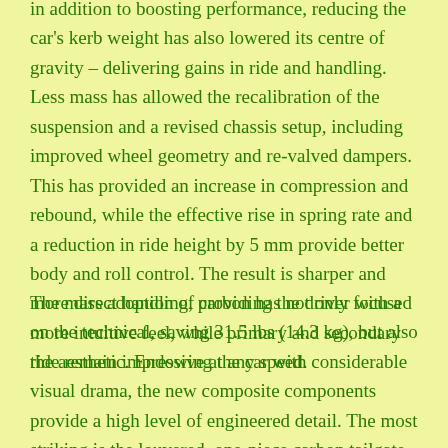in addition to boosting performance, reducing the car's kerb weight has also lowered its centre of gravity – delivering gains in ride and handling. Less mass has allowed the recalibration of the suspension and a revised chassis setup, including improved wheel geometry and re-valved dampers. This has provided an increase in compression and rebound, while the effective rise in spring rate and a reduction in ride height by 5 mm provide better body and roll control. The result is sharper and more direct handling, providing the driver with a more intuitive feel, while primary and secondary ride remain impressive at any speed.
The mass adoption of carbon has not only focused on the technical, saving 31.5 lbs (14.3 kg), but also the aesthetic. Endowing the car with considerable visual drama, the new composite components provide a high level of engineered detail. The most striking is the louvered, one-piece carbon tailgate which, together with carbon rear